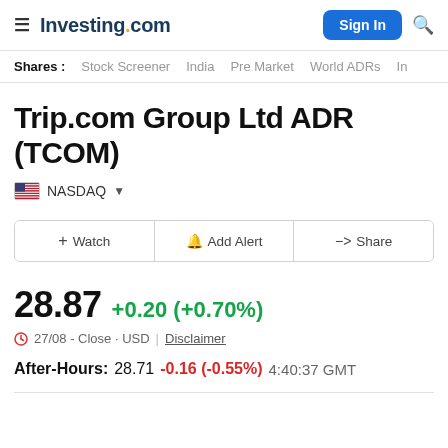Investing.com — Sign In
Shares : Stock Screener India Pre Market World ADRs In
Trip.com Group Ltd ADR (TCOM)
NASDAQ
+ Watch | Add Alert | Share
28.87 +0.20 (+0.70%)
27/08 - Close · USD | Disclaimer
After-Hours: 28.71 -0.16 (-0.55%) 4:40:37 GMT